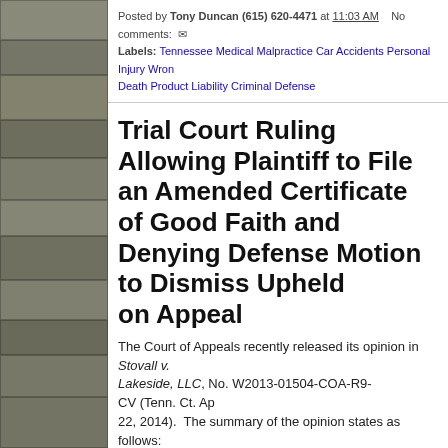Posted by Tony Duncan (615) 620-4471 at 11:03 AM   No comments:
Labels: Tennessee Medical Malpractice Car Accidents Personal Injury Wron Death Product Liability Criminal Defense
Trial Court Ruling Allowing Plaintiff to File an Amended Certificate of Good Faith and Denying Defense Motion to Dismiss Upheld on Appeal
The Court of Appeals recently released its opinion in Stovall v. Lakeside, LLC, No. W2013-01504-COA-R9-CV (Tenn. Ct. Ap 22, 2014).  The summary of the opinion states as follows:
Appellant medical providers appeal the trial court's denial of their motions to dismiss a medical malpractice complaint for failure to strictly comply with Tennessee Code Annotated Section 29-26-122(d)(4). Because we conclude that the trial court had good cause to grant an extension, within which to file a certificate of good faith, we affirm the decision of the trial court.